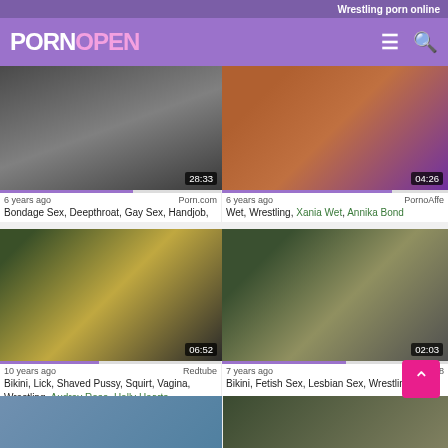Wrestling porn online
PORNOPEN
[Figure (screenshot): Video thumbnail 1: wrestling/bondage scene, duration 28:33]
6 years ago   Porn.com
Bondage Sex, Deepthroat, Gay Sex, Handjob, Spanking, Wrestling
[Figure (screenshot): Video thumbnail 2: lit scene with purple tones, duration 04:26]
6 years ago   PornoAffe
Wet, Wrestling, Xania Wet, Annika Bond
[Figure (screenshot): Video thumbnail 3: bikini wrestling match, duration 06:52]
10 years ago   Redtube
Bikini, Lick, Shaved Pussy, Squirt, Vagina, Wrestling, Audrey Rose, Holly Hearts
[Figure (screenshot): Video thumbnail 4: bikini wrestling, duration 02:03]
7 years ago   Tube8
Bikini, Fetish Sex, Lesbian Sex, Wrestling
[Figure (screenshot): Video thumbnail 5: partial view, bottom row left]
[Figure (screenshot): Video thumbnail 6: partial view, bottom row right]